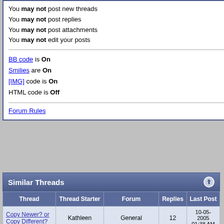You may not post new threads
You may not post replies
You may not post attachments
You may not edit your posts
BB code is On
Smilies are On
[IMG] code is On
HTML code is Off
Forum Rules
Forum Jump
Similar Threads
| Thread | Thread Starter | Forum | Replies | Last Post |
| --- | --- | --- | --- | --- |
| Copy Newer? or Copy Different? | Kathleen | General | 12 | 10-05-2005 01:38 AM |
| Copy error and crash | offdahook84 | General | 3 | 10-01-2005 10:10 PM |
| BackUp hangs at 3% | JimK | General | 10 | 09-27-2005 09:48 AM |
|  |  |  |  | 06- |